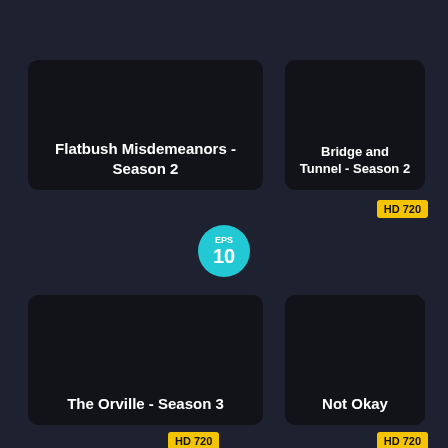[Figure (screenshot): TV show card: Flatbush Misdemeanors - Season 2]
[Figure (screenshot): TV show card: Bridge and Tunnel - Season 2 with HD 720 badge]
[Figure (screenshot): EPS 10 badge (teal circle)]
[Figure (screenshot): TV show card: The Orville - Season 3 with HD 720 badge]
[Figure (screenshot): TV show card: Not Okay with HD 720 badge]